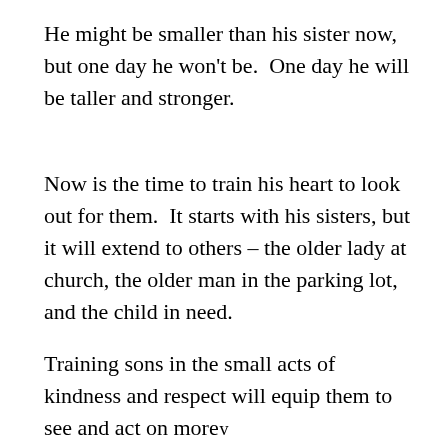He might be smaller than his sister now, but one day he won't be.  One day he will be taller and stronger.
Now is the time to train his heart to look out for them.  It starts with his sisters, but it will extend to others – the older lady at church, the older man in the parking lot, and the child in need.
Training sons in the small acts of kindness and respect will equip them to see and act on more
v